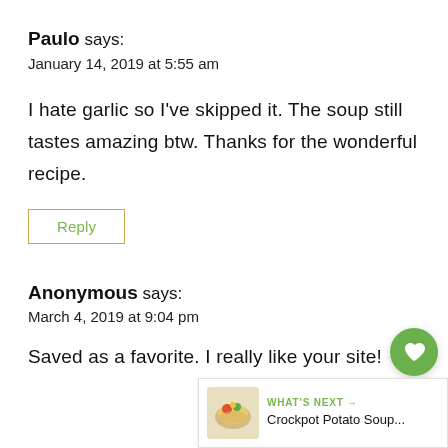Paulo says:
January 14, 2019 at 5:55 am
I hate garlic so I've skipped it. The soup still tastes amazing btw. Thanks for the wonderful recipe.
Reply
Anonymous says:
March 4, 2019 at 9:04 pm
Saved as a favorite. I really like your site!